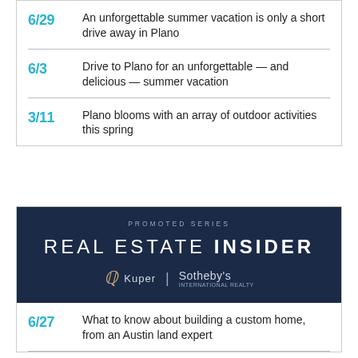6/29 An unforgettable summer vacation is only a short drive away in Plano
6/3 Drive to Plano for an unforgettable — and delicious — summer vacation
3/11 Plano blooms with an array of outdoor activities this spring
[Figure (logo): Real Estate Insider promoted series banner with Kuper Sotheby's International Realty logo on dark navy background]
6/27 What to know about building a custom home, from an Austin land expert